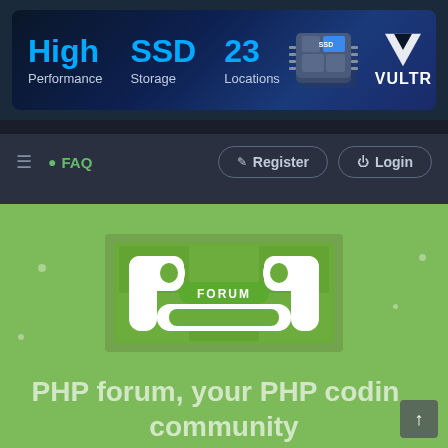[Figure (infographic): Vultr hosting advertisement banner with blue gradient background showing 'High Performance', 'SSD Storage', '23 Locations' in large text, with SSD chip graphic and Vultr logo]
≡  ● FAQ    Register   Login
[Figure (logo): PHPforum logo — PHP elephant/bracket logo with 'FORUM' text on green background]
PHP forum, your PHP coding community